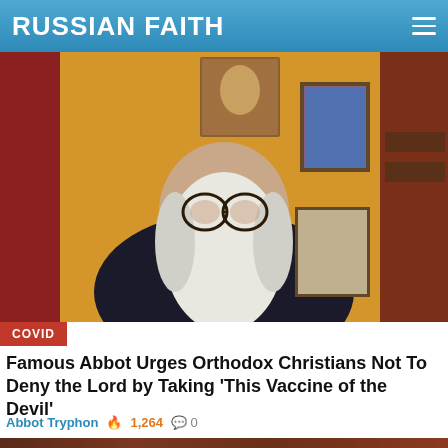RUSSIAN FAITH
[Figure (photo): Elderly man with long white beard and glasses wearing dark clothing, seated in a room with religious icons and artwork on yellow and red walls.]
COVID
Famous Abbot Urges Orthodox Christians Not To Deny the Lord by Taking 'This Vaccine of the Devil'
Abbot Tryphon 🔥 1,264 💬 0